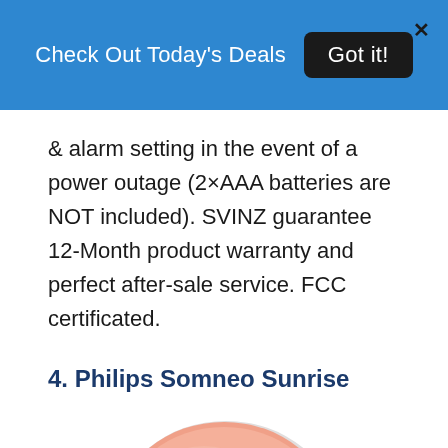Check Out Today's Deals  Got it!
& alarm setting in the event of a power outage (2×AAA batteries are NOT included). SVINZ guarantee 12-Month product warranty and perfect after-sale service. FCC certificated.
4. Philips Somneo Sunrise
[Figure (photo): Philips Somneo Sunrise alarm clock product photo showing a round salmon/peach colored disc-shaped clock with a circular hole in the center and white/grey rim, viewed from the front.]